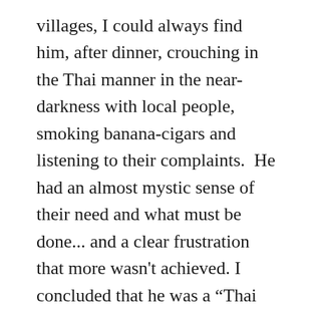villages, I could always find him, after dinner, crouching in the Thai manner in the near-darkness with local people, smoking banana-cigars and listening to their complaints.  He had an almost mystic sense of their need and what must be done... and a clear frustration that more wasn't achieved. I concluded that he was a “Thai tiger” ready for action to do the right thingâ€”as he saw itâ€”even in the face of the bureaucracy of which he was a part.
At the same time, he had an indirect, slightly cynical sense of humor. He, and his good friend, Montri, another rising young officer, also well versed in the English language, had